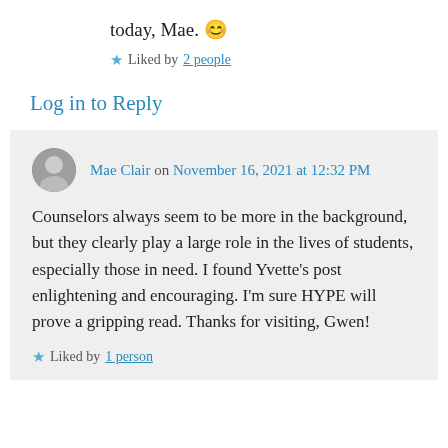today, Mae. 😊
★ Liked by 2 people
Log in to Reply
Mae Clair on November 16, 2021 at 12:32 PM
Counselors always seem to be more in the background, but they clearly play a large role in the lives of students, especially those in need. I found Yvette's post enlightening and encouraging. I'm sure HYPE will prove a gripping read. Thanks for visiting, Gwen!
★ Liked by 1 person